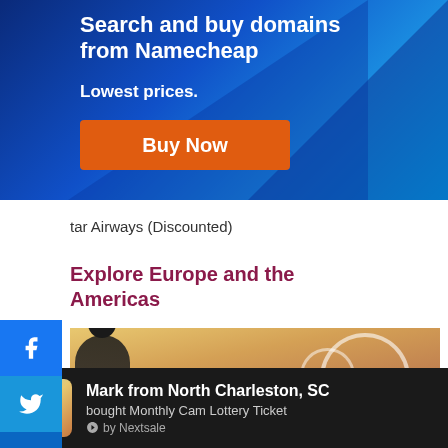[Figure (screenshot): Namecheap advertisement banner with blue gradient background, showing 'Search and buy domains from Namecheap', 'Lowest prices.' and an orange 'Buy Now' button]
[Figure (screenshot): Social sharing sidebar with Facebook, Twitter, and LinkedIn icons on a blue background]
tar Airways (Discounted)
Explore Europe and the Americas
[Figure (photo): Photo of a person at a European architectural location with arched windows]
Mark from North Charleston, SC bought Monthly Cam Lottery Ticket by Nextsale